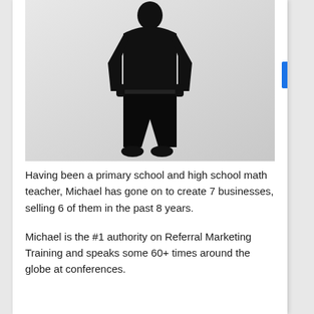[Figure (photo): Full-body photo of a man dressed in all black (black shirt, black trousers, black shoes) standing with hands in pockets against a light grey/white background.]
Having been a primary school and high school math teacher, Michael has gone on to create 7 businesses, selling 6 of them in the past 8 years.
Michael is the #1 authority on Referral Marketing Training and speaks some 60+ times around the globe at conferences.